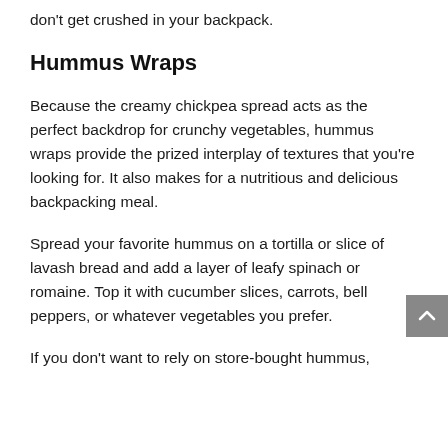don't get crushed in your backpack.
Hummus Wraps
Because the creamy chickpea spread acts as the perfect backdrop for crunchy vegetables, hummus wraps provide the prized interplay of textures that you're looking for. It also makes for a nutritious and delicious backpacking meal.
Spread your favorite hummus on a tortilla or slice of lavash bread and add a layer of leafy spinach or romaine. Top it with cucumber slices, carrots, bell peppers, or whatever vegetables you prefer.
If you don't want to rely on store-bought hummus,